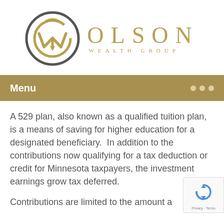[Figure (logo): Olson Wealth Group logo: circular icon with stylized OW letters in dark grey and gold, next to the text OLSON in spaced gold serif letters and WEALTH GROUP in smaller spaced gold letters below]
Menu
A 529 plan, also known as a qualified tuition plan, is a means of saving for higher education for a designated beneficiary.  In addition to the contributions now qualifying for a tax deduction or credit for Minnesota taxpayers, the investment earnings grow tax deferred.
Contributions are limited to the amount a